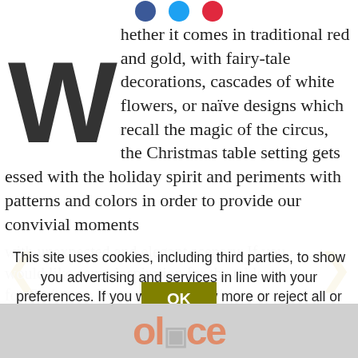[Figure (other): Three social media icon circles (blue Facebook, blue Twitter, red Pinterest) at top of page]
Whether it comes in traditional red and gold, with fairy-tale decorations, cascades of white flowers, or naïve designs which recall the magic of the circus, the Christmas table setting gets essed with the holiday spirit and periments with patterns and colors in order to provide our convivial moments
with unexpected and elegant scenery. If you
would like some inspiration for the table set
for Christmas Eve or Christmas dinner,
check out these proposals. Plates, glasses,
This site uses cookies, including third parties, to show you advertising and services in line with your preferences. If you want to know more or reject all or some cookies click here. By closing this banner, scrolling this page or clicking any element of it, you accept the use of cookies.
[Figure (other): OK button (olive/dark yellow background, white text) and advertisement banner with 'office' text in orange at the bottom]